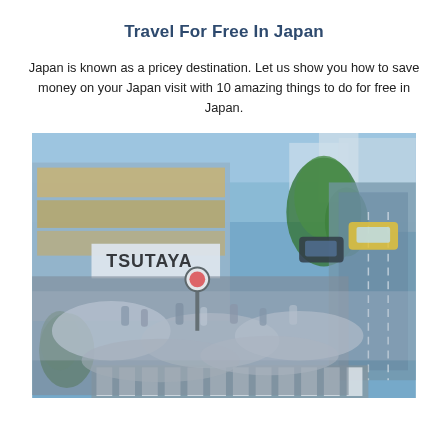Travel For Free In Japan
Japan is known as a pricey destination. Let us show you how to save money on your Japan visit with 10 amazing things to do for free in Japan.
[Figure (photo): Aerial view of a busy street crossing in Japan (Shibuya-style crossing) with crowds of people crossing, buildings including TSUTAYA store, trees, and city traffic.]